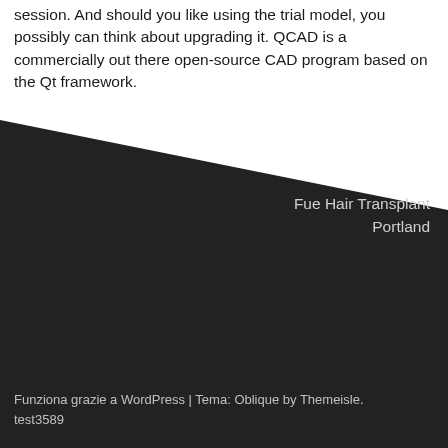session. And should you like using the trial model, you possibly can think about upgrading it. QCAD is a commercially out there open-source CAD program based on the Qt framework.
Fue Hair Transplant Portland
Funziona grazie a WordPress | Tema: Oblique by Themeisle.
test3589